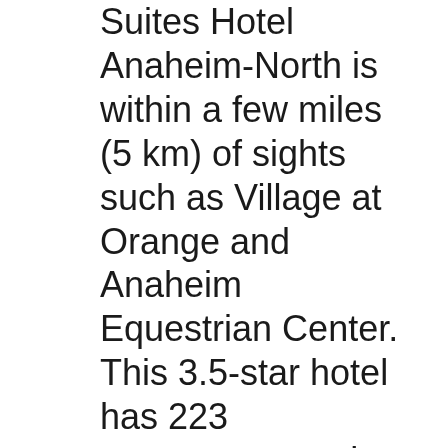Suites Hotel Anaheim-North is within a few miles (5 km) of sights such as Village at Orange and Anaheim Equestrian Center. This 3.5-star hotel has 223 guestrooms and offers an indoor pool, a fitness center, and a spa tub.
Embassy Suites by Hilton Anaheim South, Garden Grove: See 2,477 traveller reviews, 418 photos, and cheap rates for Embassy Suites by Hilton Anaheim South, ranked #11 of 19 hotels in Garden Grove and rated 4 of 5 at TripAdvisor. Pet Policy for Embassy Suites Hotel Anaheim-North If you are thinking of bringing your pet (dog or cat) and want to know if pets are